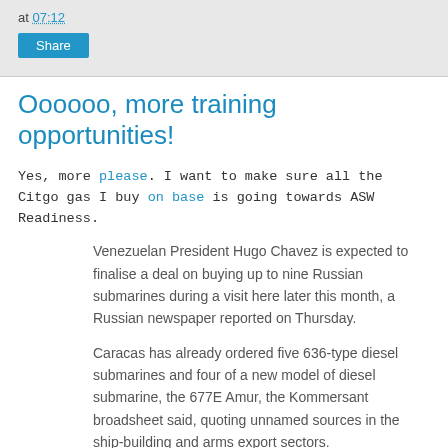at 07:12
Oooooo, more training opportunities!
Yes, more please. I want to make sure all the Citgo gas I buy on base is going towards ASW Readiness.
Venezuelan President Hugo Chavez is expected to finalise a deal on buying up to nine Russian submarines during a visit here later this month, a Russian newspaper reported on Thursday.
Caracas has already ordered five 636-type diesel submarines and four of a new model of diesel submarine, the 677E Amur, the Kommersant broadsheet said, quoting unnamed sources in the ship-building and arms export sectors.